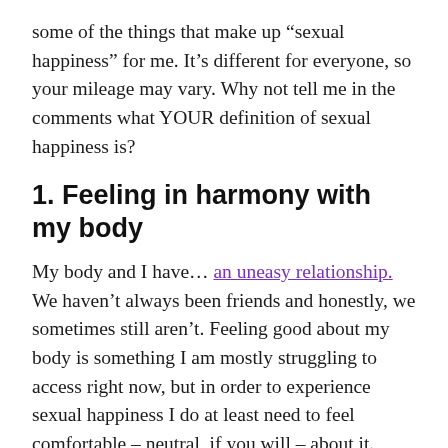some of the things that make up “sexual happiness” for me. It’s different for everyone, so your mileage may vary. Why not tell me in the comments what YOUR definition of sexual happiness is?
1. Feeling in harmony with my body
My body and I have… an uneasy relationship. We haven’t always been friends and honestly, we sometimes still aren’t. Feeling good about my body is something I am mostly struggling to access right now, but in order to experience sexual happiness I do at least need to feel comfortable – neutral, if you will – about it.
I can’t have good sex if all I can think about is how much I hate my stomach and how my thighs are too big. But I can get to a happy place sexually if I can turn off all